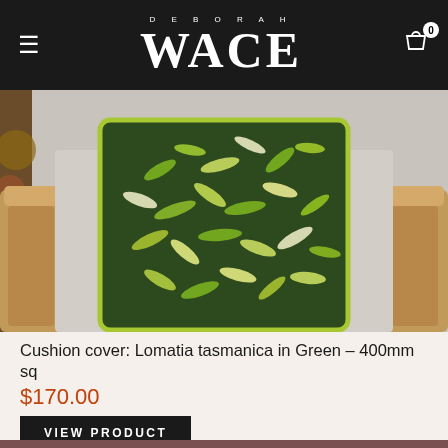DEBORAH WACE
[Figure (photo): A grey upholstered armchair with wooden arms holding a square cushion with a dark green botanical print (Lomatia tasmanica) with yellow-green piping, photographed from above.]
Cushion cover: Lomatia tasmanica in Green – 400mm sq
$170.00
VIEW PRODUCT
[Figure (photo): Bottom portion of another product image, partially visible.]